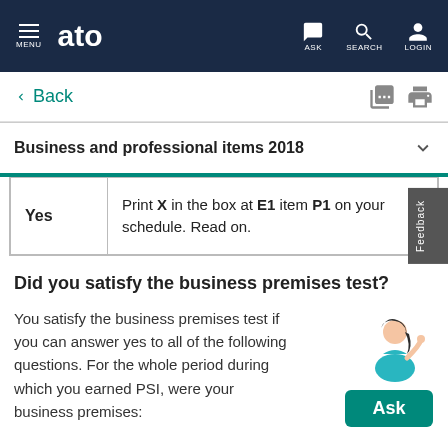MENU | ato | ASK | SEARCH | LOGIN
< Back
Business and professional items 2018
|  |  |
| --- | --- |
| Yes | Print X in the box at E1 item P1 on your schedule. Read on. |
Did you satisfy the business premises test?
You satisfy the business premises test if you can answer yes to all of the following questions. For the whole period during which you earned PSI, were your business premises: